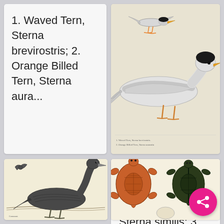1. Waved Tern, Sterna brevirostris; 2. Orange Billed Tern, Sterna aura...
[Figure (illustration): Historical natural history illustration of two terns (seabirds) - one in flight and one standing, with colored beaks and feet, in a classic engraving style with handwritten caption below.]
[Figure (illustration): Historical natural history illustration of a large water bird (likely a cormorant or similar) standing near water, with a small flying bat-like creature above it. Black and white engraving style with caption below.]
1. Javan Tern, Sterna Javanica; 2. Allied Tern, Sterna similis; 3. Bro...
[Figure (illustration): Historical natural history illustration of three turtles/tortoises shown from above - one orange/red, one dark green/black, and one smaller pale one. Classic engraving style.]